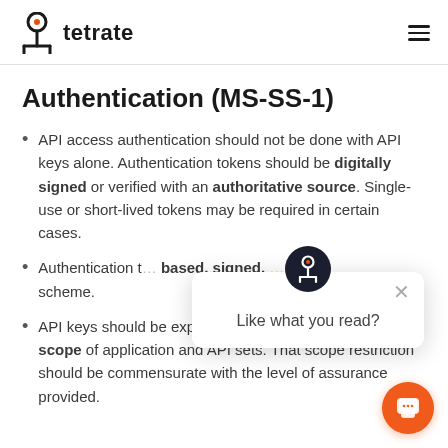tetrate
Authentication (MS-SS-1)
API access authentication should not be done with API keys alone. Authentication tokens should be digitally signed or verified with an authoritative source. Single-use or short-lived tokens may be required in certain cases.
Authentication t... based, signed, ... scheme.
API keys should be explicitly restricted in scope of application and API sets. That scope restriction should be commensurate with the level of assurance provided.